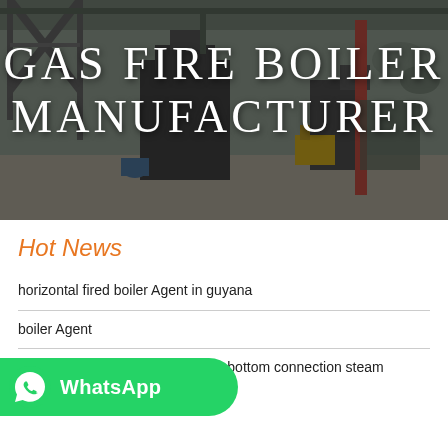[Figure (photo): Industrial boiler manufacturing facility interior, showing large equipment and structures, used as hero background image]
GAS FIRE BOILER MANUFACTURER
Hot News
horizontal fired boiler Agent in guyana
boiler Agent
Industrial instrument 3 inch brass bottom connection steam